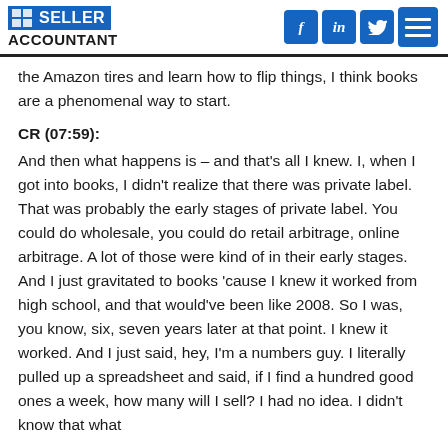SELLER ACCOUNTANT
the Amazon tires and learn how to flip things, I think books are a phenomenal way to start.
CR (07:59):
And then what happens is – and that's all I knew. I, when I got into books, I didn't realize that there was private label. That was probably the early stages of private label. You could do wholesale, you could do retail arbitrage, online arbitrage. A lot of those were kind of in their early stages. And I just gravitated to books 'cause I knew it worked from high school, and that would've been like 2008. So I was, you know, six, seven years later at that point. I knew it worked. And I just said, hey, I'm a numbers guy. I literally pulled up a spreadsheet and said, if I find a hundred good ones a week, how many will I sell? I had no idea. I didn't know that what